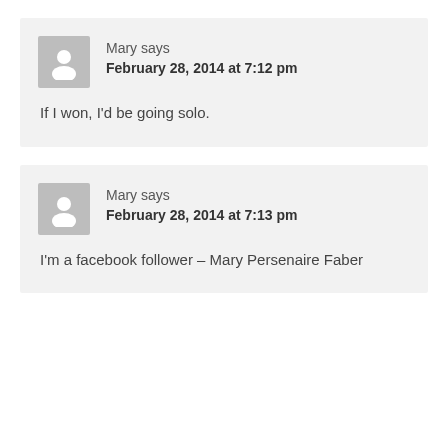Mary says
February 28, 2014 at 7:12 pm
If I won, I'd be going solo.
Mary says
February 28, 2014 at 7:13 pm
I'm a facebook follower – Mary Persenaire Faber